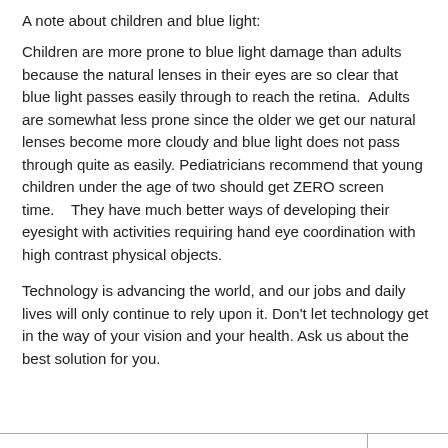A note about children and blue light:
Children are more prone to blue light damage than adults because the natural lenses in their eyes are so clear that blue light passes easily through to reach the retina.  Adults are somewhat less prone since the older we get our natural lenses become more cloudy and blue light does not pass through quite as easily. Pediatricians recommend that young children under the age of two should get ZERO screen time.   They have much better ways of developing their eyesight with activities requiring hand eye coordination with high contrast physical objects.
Technology is advancing the world, and our jobs and daily lives will only continue to rely upon it. Don't let technology get in the way of your vision and your health. Ask us about the best solution for you.
|  |